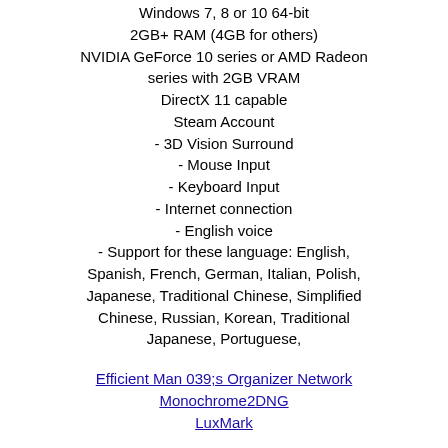Windows 7, 8 or 10 64-bit
2GB+ RAM (4GB for others)
NVIDIA GeForce 10 series or AMD Radeon series with 2GB VRAM
DirectX 11 capable
Steam Account
- 3D Vision Surround
- Mouse Input
- Keyboard Input
- Internet connection
- English voice
- Support for these language: English, Spanish, French, German, Italian, Polish, Japanese, Traditional Chinese, Simplified Chinese, Russian, Korean, Traditional Japanese, Portuguese,
Efficient Man 039;s Organizer Network
Monochrome2DNG
LuxMark